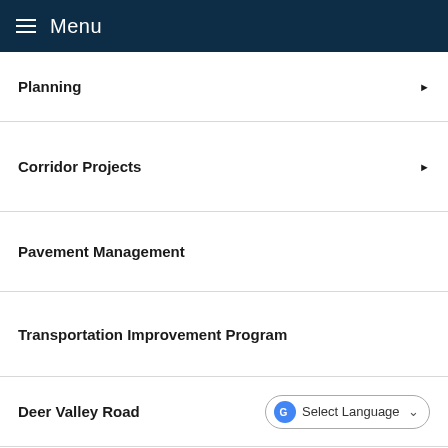Menu
Planning
Corridor Projects
Pavement Management
Transportation Improvement Program
Deer Valley Road
Peoria Avenue